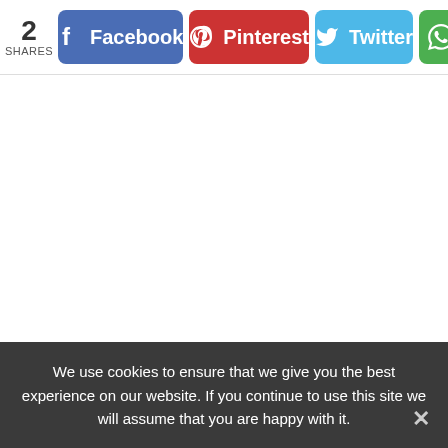2 SHARES
[Figure (screenshot): Social share bar with Facebook, Pinterest, Twitter, and WhatsApp buttons showing 2 shares]
We use cookies to ensure that we give you the best experience on our website. If you continue to use this site we will assume that you are happy with it.